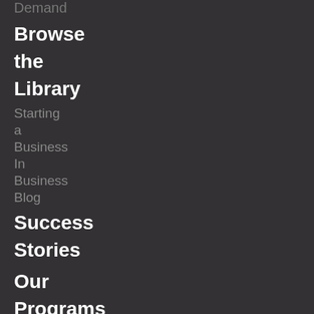Demand
Browse the Library
Starting a Business
In Business
Blog
Success Stories
Our Programs